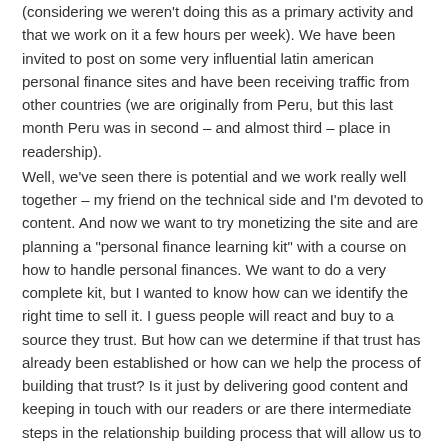(considering we weren't doing this as a primary activity and that we work on it a few hours per week). We have been invited to post on some very influential latin american personal finance sites and have been receiving traffic from other countries (we are originally from Peru, but this last month Peru was in second – and almost third – place in readership).
Well, we've seen there is potential and we work really well together – my friend on the technical side and I'm devoted to content. And now we want to try monetizing the site and are planning a "personal finance learning kit" with a course on how to handle personal finances. We want to do a very complete kit, but I wanted to know how can we identify the right time to sell it. I guess people will react and buy to a source they trust. But how can we determine if that trust has already been established or how can we help the process of building that trust? Is it just by delivering good content and keeping in touch with our readers or are there intermediate steps in the relationship building process that will allow us to sell stuff in the future?
Thank you very much!!!